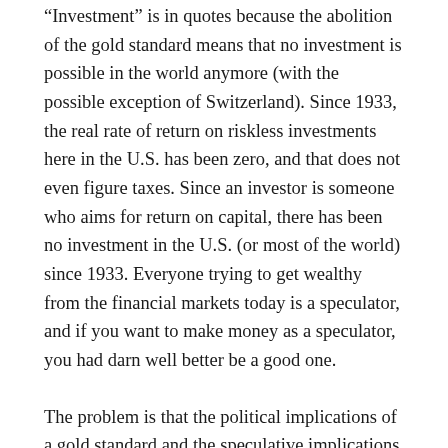“Investment” is in quotes because the abolition of the gold standard means that no investment is possible in the world anymore (with the possible exception of Switzerland). Since 1933, the real rate of return on riskless investments here in the U.S. has been zero, and that does not even figure taxes. Since an investor is someone who aims for return on capital, there has been no investment in the U.S. (or most of the world) since 1933. Everyone trying to get wealthy from the financial markets today is a speculator, and if you want to make money as a speculator, you had darn well better be a good one.
The problem is that the political implications of a gold standard and the speculative implications of how to operate in our current climate are